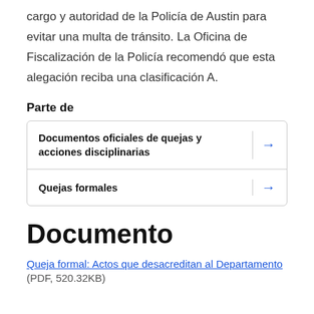cargo y autoridad de la Policía de Austin para evitar una multa de tránsito. La Oficina de Fiscalización de la Policía recomendó que esta alegación reciba una clasificación A.
Parte de
| Documentos oficiales de quejas y acciones disciplinarias | → |
| Quejas formales | → |
Documento
Queja formal: Actos que desacreditan al Departamento (PDF, 520.32KB)